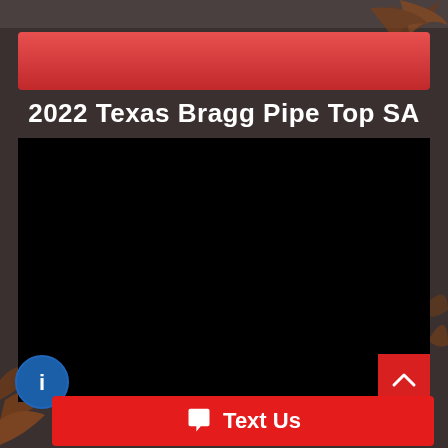[Figure (screenshot): Red gradient banner bar at top of content section]
2022 Texas Bragg Pipe Top SA
[Figure (screenshot): Black video player area (video not loaded/playing)]
[Figure (screenshot): Red scroll-to-top button with upward chevron arrow in bottom right of video]
[Figure (screenshot): Blue circular info/chat icon at bottom left]
Text Us